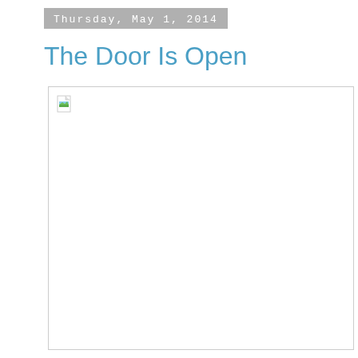Thursday, May 1, 2014
The Door Is Open
[Figure (photo): A broken/missing image placeholder with a small broken image icon in the top-left corner inside a bordered white rectangle]